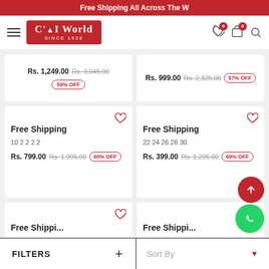Free Shipping All Across The W...
[Figure (logo): C'lai World Since 1928 logo with hamburger menu, heart icon with badge 0, cart icon with badge 0, search icon]
Rs. 1,249.00 Rs. 3,045.00 59% OFF
Rs. 999.00 Rs. 2,325.00 57% OFF
Free Shipping
10  2  2  2  2
Rs. 799.00 Rs. 1,995.00 60% OFF
Free Shipping
22  24  26  28  30
Rs. 399.00 Rs. 1,295.00 69% OFF
Free Shipping
Free Shipping
FILTERS +  |  Sort By ▼